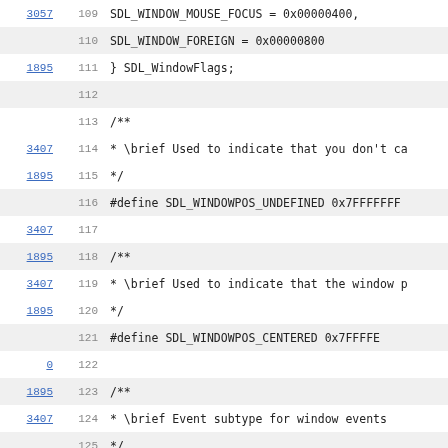| ref | line | code |
| --- | --- | --- |
| 3057 | 109 |     SDL_WINDOW_MOUSE_FOCUS = 0x00000400, |
|  | 110 |     SDL_WINDOW_FOREIGN = 0x00000800 |
| 1895 | 111 | } SDL_WindowFlags; |
|  | 112 |  |
|  | 113 | /** |
| 3407 | 114 |  *  \brief Used to indicate that you don't ca |
| 1895 | 115 |  */ |
|  | 116 | #define SDL_WINDOWPOS_UNDEFINED 0x7FFFFFFF |
| 3407 | 117 |  |
| 1895 | 118 | /** |
| 3407 | 119 |  *  \brief Used to indicate that the window p |
| 1895 | 120 |  */ |
|  | 121 | #define SDL_WINDOWPOS_CENTERED  0x7FFFFE |
| 0 | 122 |  |
| 1895 | 123 | /** |
| 3407 | 124 |  *  \brief Event subtype for window events |
|  | 125 |  */ |
|  | 126 | typedef enum |
|  | 127 | { |
|  | 128 |     SDL_WINDOWEVENT_NONE,          /**< Neve |
|  | 129 |     SDL_WINDOWEVENT_SHOWN,          /**< Wind |
|  | 130 |     SDL_WINDOWEVENT_HIDDEN,         /**< Wind |
|  | 131 |     SDL_WINDOWEVENT_EXPOSED,        /**< Wind |